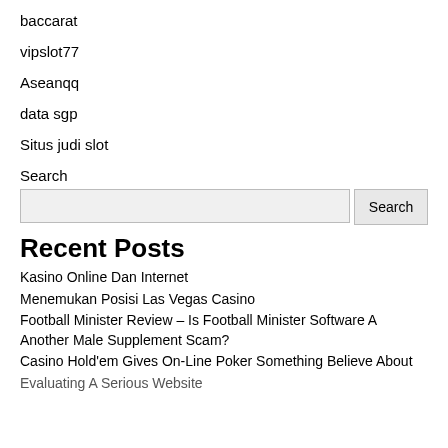baccarat
vipslot77
Aseanqq
data sgp
Situs judi slot
Search
Recent Posts
Kasino Online Dan Internet
Menemukan Posisi Las Vegas Casino
Football Minister Review – Is Football Minister Software A Another Male Supplement Scam?
Casino Hold'em Gives On-Line Poker Something Believe About Evaluating A Serious Website